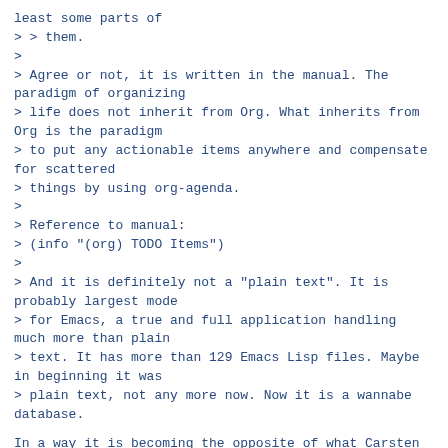least some parts of
> > them.
>
> Agree or not, it is written in the manual. The paradigm of organizing
> life does not inherit from Org. What inherits from Org is the paradigm
> to put any actionable items anywhere and compensate for scattered
> things by using org-agenda.
>
> Reference to manual:
> (info "(org) TODO Items")
>
> And it is definitely not a "plain text". It is probably largest mode
> for Emacs, a true and full application handling much more than plain
> text. It has more than 129 Emacs Lisp files. Maybe in beginning it was
> plain text, not any more now. Now it is a wannabe database.
In a way it is becoming the opposite of what Carsten was trying to do
in the beginning.  And plain text is always portable.
We should not exclude the original intention and use, making it fully
database.